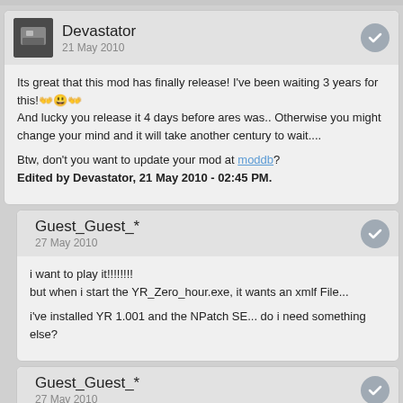Devastator
21 May 2010
Its great that this mod has finally release! I've been waiting 3 years for this! 🙌😊🙌
And lucky you release it 4 days before ares was.. Otherwise you might change your mind and it will take another century to wait....

Btw, don't you want to update your mod at moddb?
Edited by Devastator, 21 May 2010 - 02:45 PM.
Guest_Guest_*
27 May 2010
i want to play it!!!!!!!!
but when i start the YR_Zero_hour.exe, it wants an xmlf File...

i've installed YR 1.001 and the NPatch SE... do i need something else?
Guest_Guest_*
27 May 2010